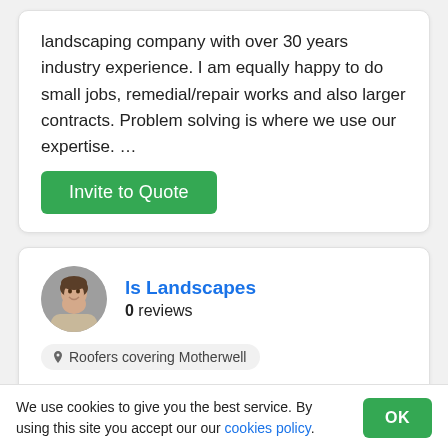landscaping company with over 30 years industry experience. I am equally happy to do small jobs, remedial/repair works and also larger contracts. Problem solving is where we use our expertise. …
Invite to Quote
ls Landscapes
0 reviews
Roofers covering Motherwell
We are a small family business with a lot of resources to provide you with the quality services you are looking for to have your work carried out in a
We use cookies to give you the best service. By using this site you accept our our cookies policy.